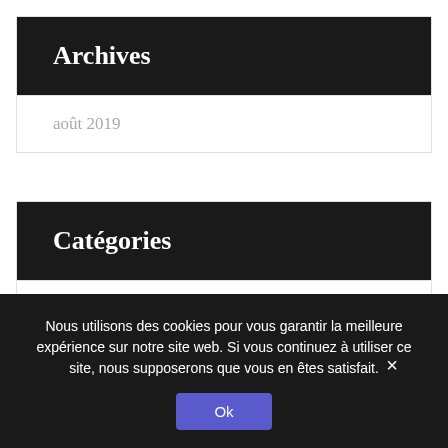Archives
août 2019
Catégories
Civil law
Nous utilisons des cookies pour vous garantir la meilleure expérience sur notre site web. Si vous continuez à utiliser ce site, nous supposerons que vous en êtes satisfait.